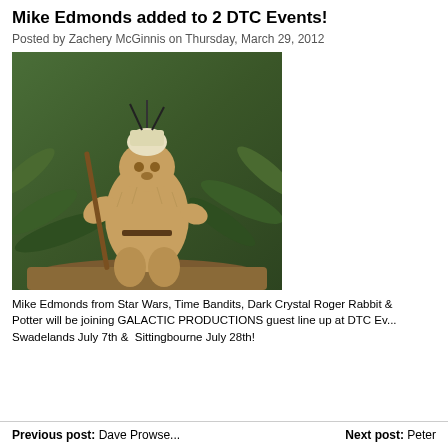Mike Edmonds added to 2 DTC Events!
Posted by Zachery McGinnis on Thursday, March 29, 2012
[Figure (photo): Mike Edmonds dressed as an Ewok character from Star Wars, standing in a forest setting wearing fur costume and holding a staff, with a skull headdress]
Mike Edmonds from Star Wars, Time Bandits, Dark Crystal Roger Rabbit & Potter will be joining GALACTIC PRODUCTIONS guest line up at DTC Ev... Swadelands July 7th & Sittingbourne July 28th!
Previous post: Dave Prowse...    Next post: Peter